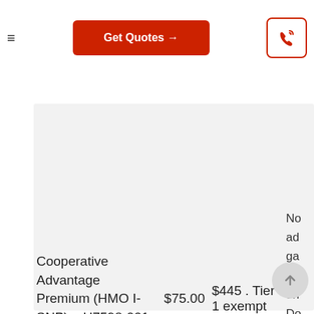[Figure (screenshot): Navigation bar with hamburger menu, red Get Quotes button with arrow, and red phone icon button]
Pr Di
| Plan Name | Premium | Deductible | ... |
| --- | --- | --- | --- |
| Cooperative Advantage Premium (HMO I-SNP) – H7598-001-0 | $75.00 | $445 . Tier 1 exempt | No ad ga co on Do Ho Di |
[Figure (other): Scroll to top circular button with upward arrow]